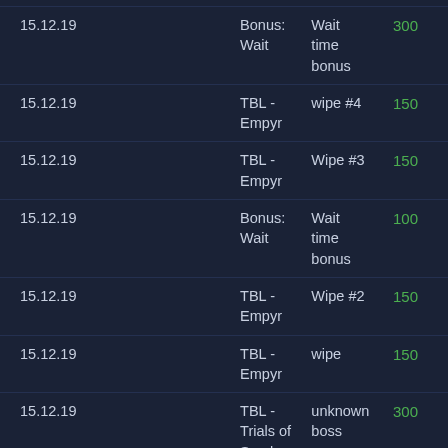| Date | Type | Description | Points |
| --- | --- | --- | --- |
| 15.12.19 | Bonus:
Wait | Wait time bonus | 300 |
| 15.12.19 | TBL -
Empyr | wipe #4 | 150 |
| 15.12.19 | TBL -
Empyr | Wipe #3 | 150 |
| 15.12.19 | Bonus:
Wait | Wait time bonus | 100 |
| 15.12.19 | TBL -
Empyr | Wipe #2 | 150 |
| 15.12.19 | TBL -
Empyr | wipe | 150 |
| 15.12.19 | TBL -
Trials of Smoke | unknown boss | 300 |
| 15.12.19 | Ontime | unknown boss | 300 |
| 13.12.19 | EON | unknown boss | 300 |